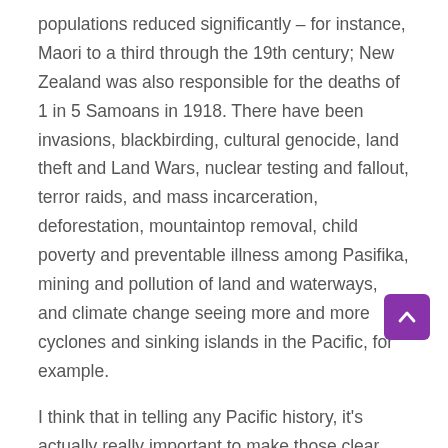populations reduced significantly – for instance, Maori to a third through the 19th century; New Zealand was also responsible for the deaths of 1 in 5 Samoans in 1918. There have been invasions, blackbirding, cultural genocide, land theft and Land Wars, nuclear testing and fallout, terror raids, and mass incarceration, deforestation, mountaintop removal, child poverty and preventable illness among Pasifika, mining and pollution of land and waterways, and climate change seeing more and more cyclones and sinking islands in the Pacific, for example.
I think that in telling any Pacific history, it's actually really important to make those clear distinctions and avoid false equivalencies between Pacific settlement and European colonisation. Particularly for the sake of